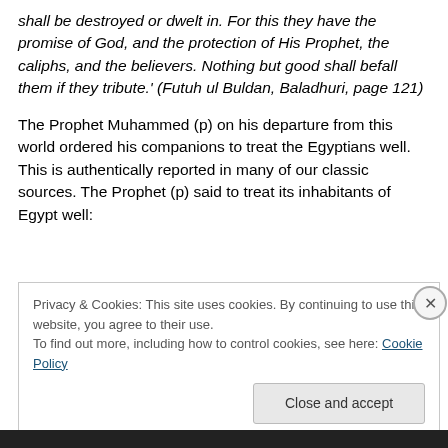shall be destroyed or dwelt in. For this they have the promise of God, and the protection of His Prophet, the caliphs, and the believers. Nothing but good shall befall them if they tribute.' (Futuh ul Buldan, Baladhuri, page 121)
The Prophet Muhammed (p) on his departure from this world ordered his companions to treat the Egyptians well. This is authentically reported in many of our classic sources. The Prophet (p) said to treat its inhabitants of Egypt well:
Privacy & Cookies: This site uses cookies. By continuing to use this website, you agree to their use.
To find out more, including how to control cookies, see here: Cookie Policy
[Close and accept]